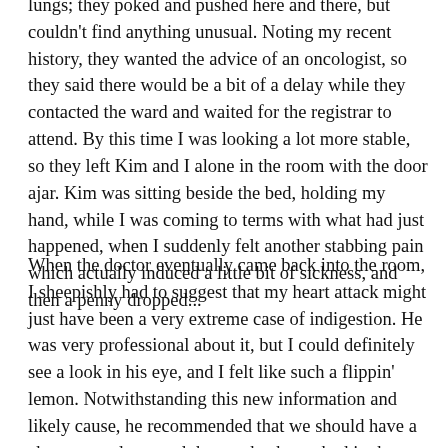lungs; they poked and pushed here and there, but couldn't find anything unusual. Noting my recent history, they wanted the advice of an oncologist, so they said there would be a bit of a delay while they contacted the ward and waited for the registrar to attend. By this time I was looking a lot more stable, so they left Kim and I alone in the room with the door ajar. Kim was sitting beside the bed, holding my hand, while I was coming to terms with what had just happened, when I suddenly felt another stabbing pain which actually induced a little bit of sickness, and then a penny dropped...
When the doctor eventually came back into the room, I sheepishly had to suggest that my heart attack might just have been a very extreme case of indigestion. He was very professional about it, but I could definitely see a look in his eye, and I felt like such a flippin' lemon. Notwithstanding this new information and likely cause, he recommended that we should have a chest x-ray done, and then go back to a bed in the ward for a few hours to make sure everything was ok. In my defence, I can only say that I've never experienced anything like that pain before! It turns out that it wasn't simple